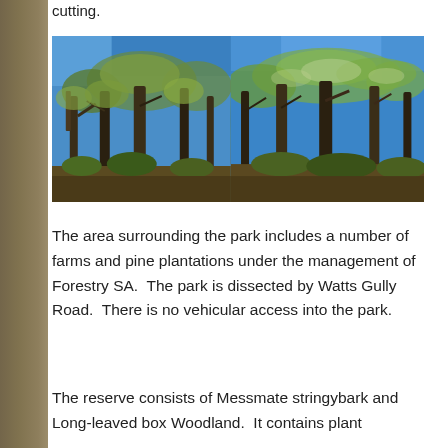cutting.
[Figure (photo): Two side-by-side photographs of tall eucalyptus trees (Messmate stringybark and Long-leaved box Woodland) against a bright blue sky, taken from below looking up, with brown shrubby understorey visible at the base.]
The area surrounding the park includes a number of farms and pine plantations under the management of Forestry SA.  The park is dissected by Watts Gully Road.  There is no vehicular access into the park.
The reserve consists of Messmate stringybark and Long-leaved box Woodland.  It contains plant